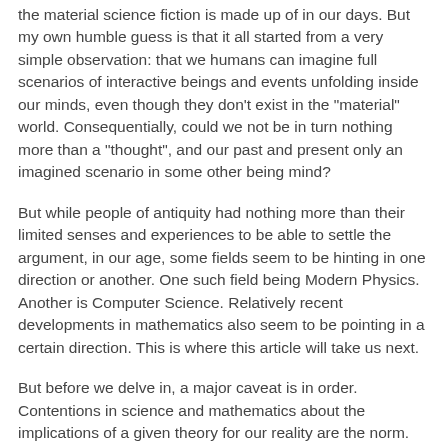the material science fiction is made up of in our days. But my own humble guess is that it all started from a very simple observation: that we humans can imagine full scenarios of interactive beings and events unfolding inside our minds, even though they don't exist in the "material" world. Consequentially, could we not be in turn nothing more than a "thought", and our past and present only an imagined scenario in some other being mind?
But while people of antiquity had nothing more than their limited senses and experiences to be able to settle the argument, in our age, some fields seem to be hinting in one direction or another. One such field being Modern Physics. Another is Computer Science. Relatively recent developments in mathematics also seem to be pointing in a certain direction. This is where this article will take us next.
But before we delve in, a major caveat is in order. Contentions in science and mathematics about the implications of a given theory for our reality are the norm. Therefore, depending on your interpretation of the theory of concern, some of these arguments might not be...